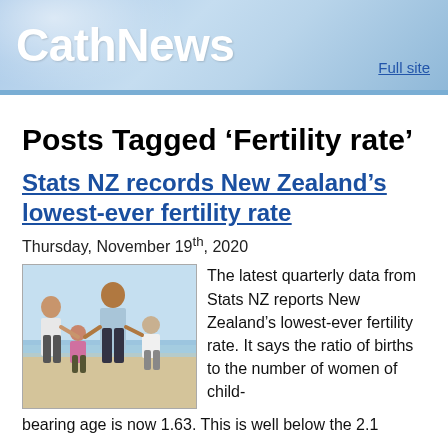CathNews   Full site
Posts Tagged ‘Fertility rate’
Stats NZ records New Zealand’s lowest-ever fertility rate
Thursday, November 19th, 2020
[Figure (photo): Family with children playing on a beach]
The latest quarterly data from Stats NZ reports New Zealand’s lowest-ever fertility rate. It says the ratio of births to the number of women of child-bearing age is now 1.63. This is well below the 2.1